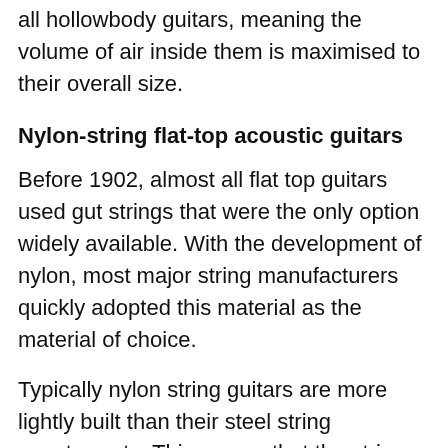all hollowbody guitars, meaning the volume of air inside them is maximised to their overall size.
Nylon-string flat-top acoustic guitars
Before 1902, almost all flat top guitars used gut strings that were the only option widely available. With the development of nylon, most major string manufacturers quickly adopted this material as the material of choice.
Typically nylon string guitars are more lightly built than their steel string counterparts. This means that the strings that are at a lower tension can more easily transfer vibrations into the top. The wooden braces glued underneath